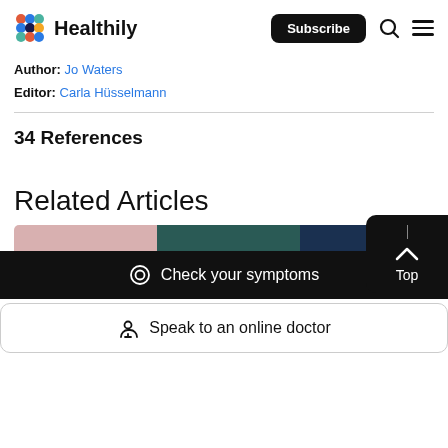Healthily — Subscribe
Author: Jo Waters
Editor: Carla Hüsselmann
34 References
Related Articles
[Figure (screenshot): Partial image strip of related articles thumbnails]
Check your symptoms
Speak to an online doctor